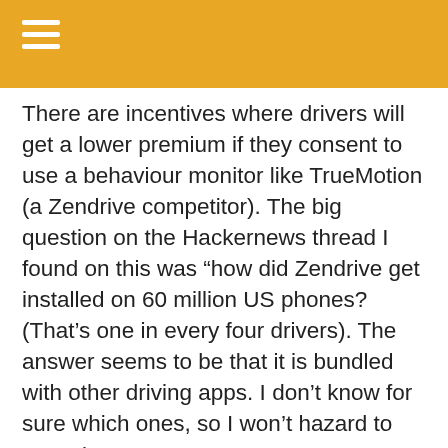There are incentives where drivers will get a lower premium if they consent to use a behaviour monitor like TrueMotion (a Zendrive competitor). The big question on the Hackernews thread I found on this was “how did Zendrive get installed on 60 million US phones? (That’s one in every four drivers). The answer seems to be that it is bundled with other driving apps. I don’t know for sure which ones, so I won’t hazard to speculate.
See: https://www.bloomberg.com/news/articles/2019-04-29/insurers-know-exactly-how-often-american-drivers-touch-their-phones
And: https://news.ycombinator.com/item?id=19779545